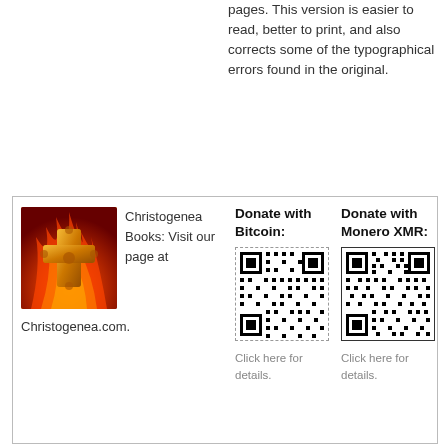pages. This version is easier to read, better to print, and also corrects some of the typographical errors found in the original.
[Figure (other): Donation box with Christogenea Books logo, QR codes for Bitcoin and Monero XMR donations]
Christogenea Books: Visit our page at Christogenea.com.
Donate with Bitcoin:
[Figure (other): Bitcoin QR code]
Click here for details.
Donate with Monero XMR:
[Figure (other): Monero XMR QR code]
Click here for details.